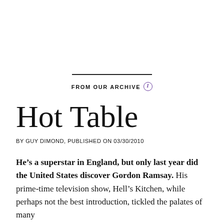FROM OUR ARCHIVE
Hot Table
BY GUY DIMOND, PUBLISHED ON 03/30/2010
He’s a superstar in England, but only last year did the United States discover Gordon Ramsay. His prime-time television show, Hell’s Kitchen, while perhaps not the best introduction, tickled the palates of many